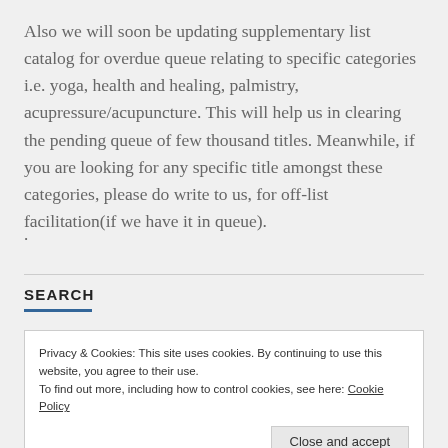Also we will soon be updating supplementary list catalog for overdue queue relating to specific categories i.e. yoga, health and healing, palmistry, acupressure/acupuncture. This will help us in clearing the pending queue of few thousand titles. Meanwhile, if you are looking for any specific title amongst these categories, please do write to us, for off-list facilitation(if we have it in queue).
.
SEARCH
Privacy & Cookies: This site uses cookies. By continuing to use this website, you agree to their use.
To find out more, including how to control cookies, see here: Cookie Policy
Close and accept